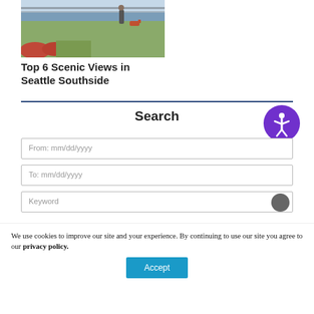[Figure (photo): Outdoor photo of a person walking a red dog along a waterfront path with flowers and greenery]
Top 6 Scenic Views in Seattle Southside
Search
From: mm/dd/yyyy
To: mm/dd/yyyy
Keyword
We use cookies to improve our site and your experience. By continuing to use our site you agree to our privacy policy.
Accept